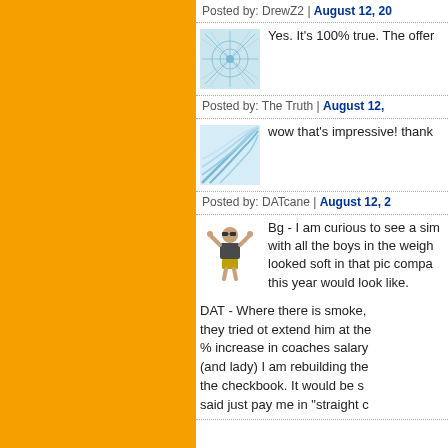Posted by: DrewZ2 | August 12, 20...
[Figure (illustration): Avatar with blue geometric web pattern on light background]
Yes. It's 100% true. The offer...
Posted by: The Truth | August 12, ...
[Figure (illustration): Avatar with blue curved lines on light background]
wow that's impressive! thank...
Posted by: DATcane | August 12, 2...
[Figure (photo): Avatar of person in sunglasses and wrestling-style outfit flexing]
Bg - I am curious to see a sim... with all the boys in the weigh... looked soft in that pic compa... this year would look like.
DAT - Where there is smoke,... they tried ot extend him at the... % increase in coaches salary... (and lady) I am rebuilding the... the checkbook. It would be s... said just pay me in "straight c...